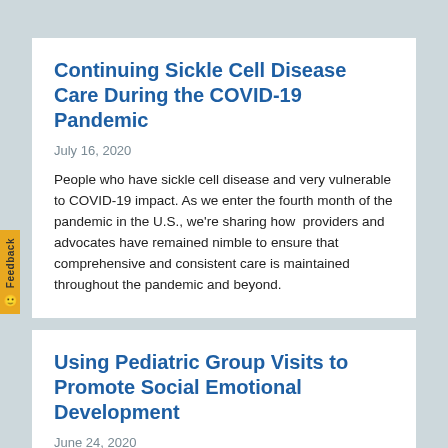Continuing Sickle Cell Disease Care During the COVID-19 Pandemic
July 16, 2020
People who have sickle cell disease and very vulnerable to COVID-19 impact. As we enter the fourth month of the pandemic in the U.S., we're sharing how  providers and advocates have remained nimble to ensure that comprehensive and consistent care is maintained throughout the pandemic and beyond.
Using Pediatric Group Visits to Promote Social Emotional Development
June 24, 2020